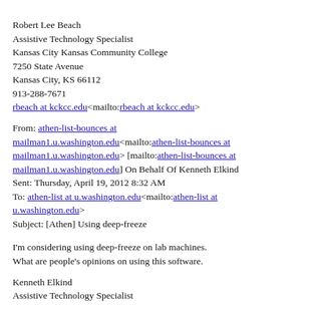Robert Lee Beach
Assistive Technology Specialist
Kansas City Kansas Community College
7250 State Avenue
Kansas City, KS 66112
913-288-7671
rbeach at kckcc.edu<mailto:rbeach at kckcc.edu>
From: athen-list-bounces at mailman1.u.washington.edu<mailto:athen-list-bounces at mailman1.u.washington.edu> [mailto:athen-list-bounces at mailman1.u.washington.edu] On Behalf Of Kenneth Elkind
Sent: Thursday, April 19, 2012 8:32 AM
To: athen-list at u.washington.edu<mailto:athen-list at u.washington.edu>
Subject: [Athen] Using deep-freeze
I'm considering using deep-freeze on lab machines.
What are people's opinions on using this software.
Kenneth Elkind
Assistive Technology Specialist